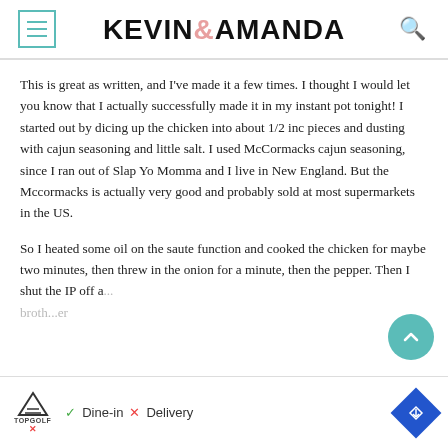KEVIN & AMANDA
This is great as written, and I've made it a few times. I thought I would let you know that I actually successfully made it in my instant pot tonight! I started out by dicing up the chicken into about 1/2 inc pieces and dusting with cajun seasoning and little salt. I used McCormacks cajun seasoning, since I ran out of Slap Yo Momma and I live in New England. But the Mccormacks is actually very good and probably sold at most supermarkets in the US.
So I heated some oil on the saute function and cooked the chicken for maybe two minutes, then threw in the onion for a minute, then the pepper. Then I shut the IP off a... broth... er
[Figure (screenshot): Advertisement bar showing TopGolf logo with Dine-in checkmark and Delivery X, plus navigation icon]